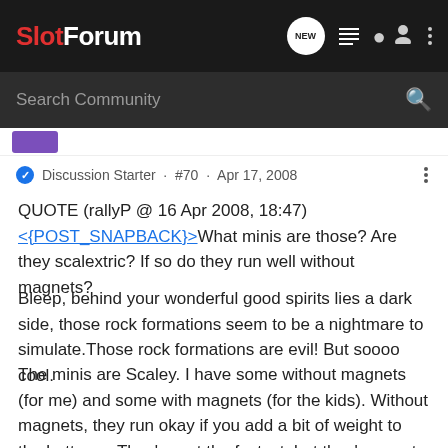SlotForum
Search Community
Discussion Starter · #70 · Apr 17, 2008
QUOTE (rallyP @ 16 Apr 2008, 18:47)
<{POST_SNAPBACK}>What minis are those? Are they scalextric? If so do they run well without magnets?
Bleep, behind your wonderful good spirits lies a dark side, those rock formations seem to be a nightmare to simulate.Those rock formations are evil! But soooo cool.
The minis are Scaley. I have some without magnets (for me) and some with magnets (for the kids). Without magnets, they run okay if you add a bit of weight to the bottome. They're not the fastest, but they're great fun.